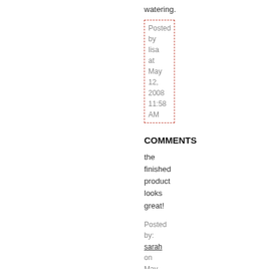watering.
Posted by lisa at May 12, 2008 11:58 AM
COMMENTS
the finished product looks great!
Posted by: sarah on May 13, 2008 08:05 AM